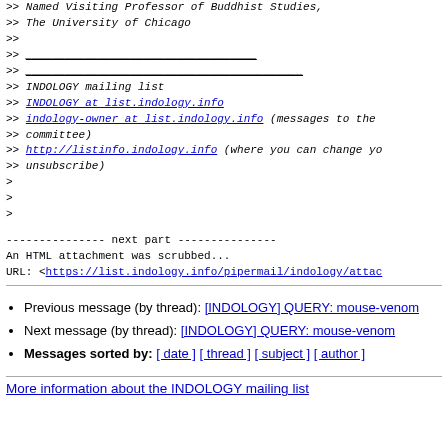>> Named Visiting Professor of Buddhist Studies,
>> The University of Chicago
>>
>> ___________________________________
>> __________________________________________
>> INDOLOGY mailing list
>> INDOLOGY at list.indology.info
>> indology-owner at list.indology.info (messages to the committee)
>> http://listinfo.indology.info (where you can change your options or unsubscribe)
>
>
>
--------------- next part ---------------
An HTML attachment was scrubbed...
URL: <https://list.indology.info/pipermail/indology/atta
Previous message (by thread): [INDOLOGY] QUERY: mouse-venom
Next message (by thread): [INDOLOGY] QUERY: mouse-venom
Messages sorted by: [ date ] [ thread ] [ subject ] [ author ]
More information about the INDOLOGY mailing list